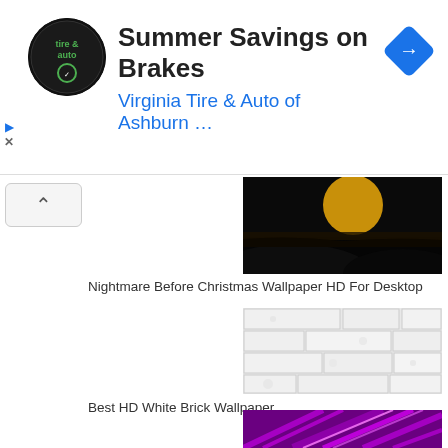[Figure (screenshot): Advertisement banner for Virginia Tire & Auto of Ashburn featuring logo, 'Summer Savings on Brakes' headline, and navigation icon]
[Figure (photo): Nightmare Before Christmas wallpaper - dark image with yellow moon]
Nightmare Before Christmas Wallpaper HD For Desktop
[Figure (photo): White brick wall wallpaper pattern]
Best HD White Brick Wallpaper
[Figure (photo): Purple abstract diagonal light streaks wallpaper]